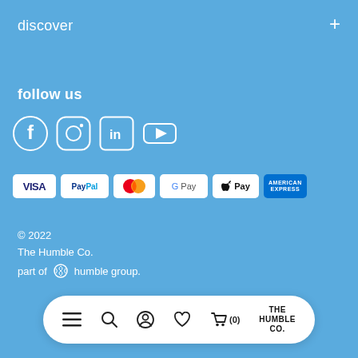discover
follow us
[Figure (illustration): Social media icons: Facebook, Instagram, LinkedIn, YouTube]
[Figure (illustration): Payment method badges: VISA, PayPal, Mastercard, Google Pay, Apple Pay, American Express]
© 2022
The Humble Co.
part of humble group.
[Figure (illustration): Bottom navigation bar with hamburger menu, search, profile, heart/wishlist, cart (0) icons, and THE HUMBLE CO. logo text]